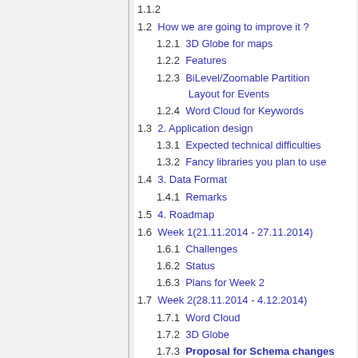1.1.2 User experience
1.2 How we are going to improve it ?
1.2.1 3D Globe for maps
1.2.2 Features
1.2.3 BiLevel/Zoomable Partition Layout for Events
1.2.4 Word Cloud for Keywords
1.3 2. Application design
1.3.1 Expected technical difficulties
1.3.2 Fancy libraries you plan to use
1.4 3. Data Format
1.4.1 Remarks
1.5 4. Roadmap
1.6 Week 1(21.11.2014 - 27.11.2014)
1.6.1 Challenges
1.6.2 Status
1.6.3 Plans for Week 2
1.7 Week 2(28.11.2014 - 4.12.2014)
1.7.1 Word Cloud
1.7.2 3D Globe
1.7.3 Proposal for Schema changes
1.8 Week 3(5.12.2014 - 11.12.2014)